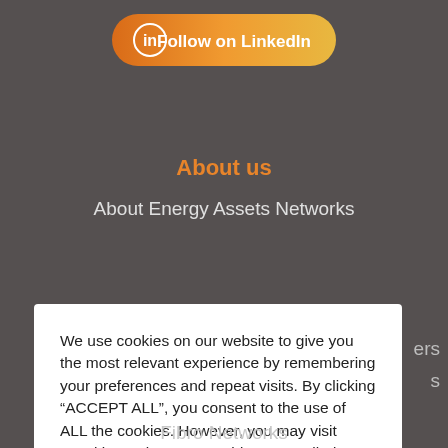[Figure (other): Orange gradient LinkedIn follow button with LinkedIn logo icon and text 'Follow on LinkedIn']
About us
About Energy Assets Networks
We use cookies on our website to give you the most relevant experience by remembering your preferences and repeat visits. By clicking “ACCEPT ALL”, you consent to the use of ALL the cookies. However, you may visit "Cookie Settings" to provide a controlled consent.
Cookie Settings   REJECT ALL   ACCEPT ALL
Fibro Networks